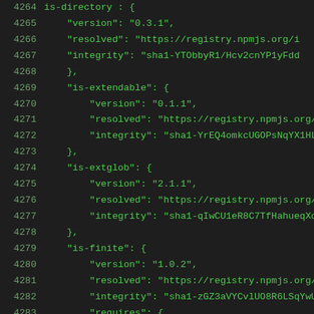Code listing lines 4264-4285: JSON lock file entries for is-directory, is-extendable, is-extglob, is-finite packages
4264: is-directory : {
4265:     "version": "0.3.1",
4266:     "resolved": "https://registry.npmjs.org/i
4267:     "integrity": "sha1-YTObbyR1/Hcv2cnYP1yFdd
4268: },
4269: "is-extendable": {
4270:     "version": "0.1.1",
4271:     "resolved": "https://registry.npmjs.org/i
4272:     "integrity": "sha1-YrEQ4omkcUGOPsNqYX1HLj
4273: },
4274: "is-extglob": {
4275:     "version": "2.1.1",
4276:     "resolved": "https://registry.npmjs.org/i
4277:     "integrity": "sha1-qIwCU1eR8C7TfHahueqXc8
4278: },
4279: "is-finite": {
4280:     "version": "1.0.2",
4281:     "resolved": "https://registry.npmjs.org/i
4282:     "integrity": "sha1-zGZ3aVYCvlUO8R6LSqYwU0
4283:     "requires": {
4284:         "number-is-nan": "^1.0.0"
4285:     }